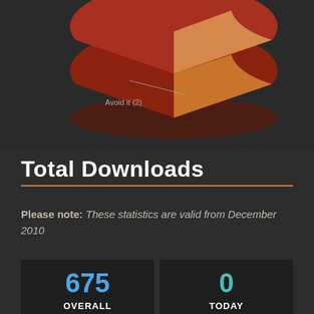[Figure (pie-chart): 3D pie chart showing download distribution with a large dark red slice and a smaller orange/tan slice. Label reads 'Avoid it (2)' pointing to the large red section.]
Total Downloads
Please note: These statistics are valid from December 2010
675 OVERALL
0 TODAY
2 LAST 7 DAYS
9 LAST 30 DAYS